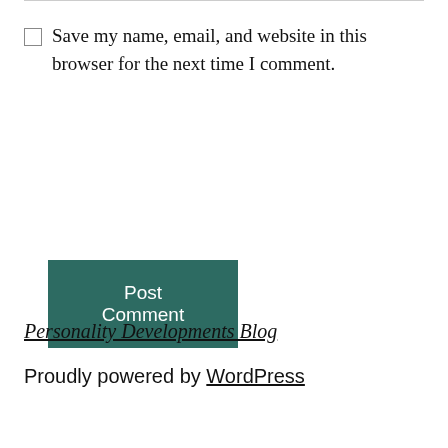Save my name, email, and website in this browser for the next time I comment.
Post Comment
Personality Developments Blog
Proudly powered by WordPress